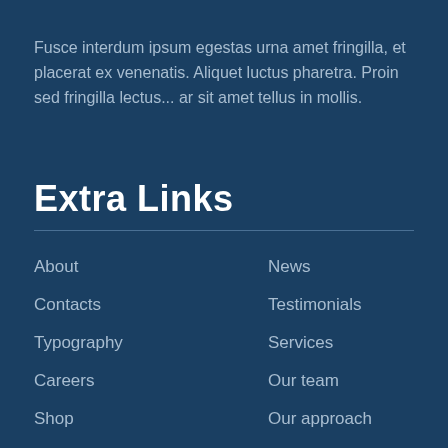Fusce interdum ipsum egestas urna amet fringilla, et placerat ex venenatis. Aliquet luctus pharetra. Proin sed fringilla lectus... ar sit amet tellus in mollis.
Extra Links
About
Contacts
Typography
Careers
Shop
News
Testimonials
Services
Our team
Our approach